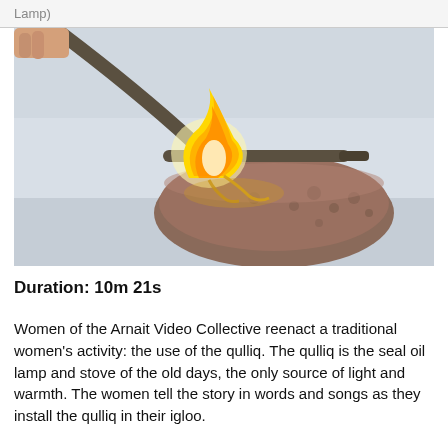Lamp)
[Figure (photo): Close-up photograph of a qulliq (seal oil lamp) being lit with a torch-like instrument. The stone lamp is burning with golden-orange flame against a snowy background.]
Duration: 10m 21s
Women of the Arnait Video Collective reenact a traditional women's activity: the use of the qulliq. The qulliq is the seal oil lamp and stove of the old days, the only source of light and warmth. The women tell the story in words and songs as they install the qulliq in their igloo.